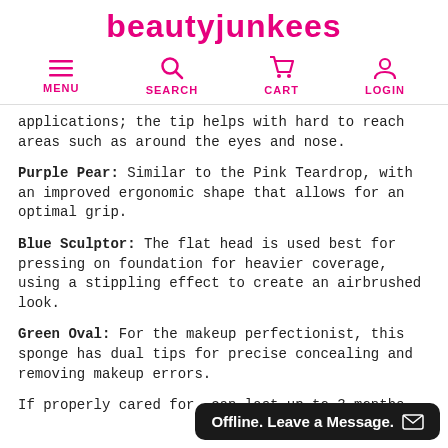beautyjunkees
[Figure (infographic): Navigation bar with icons for MENU, SEARCH, CART, LOGIN in pink]
applications; the tip helps with hard to reach areas such as around the eyes and nose.
Purple Pear: Similar to the Pink Teardrop, with an improved ergonomic shape that allows for an optimal grip.
Blue Sculptor: The flat head is used best for pressing on foundation for heavier coverage, using a stippling effect to create an airbrushed look.
Green Oval: For the makeup perfectionist, this sponge has dual tips for precise concealing and removing makeup errors.
If properly cared for, can last up to 3 months.
[Figure (screenshot): Offline chat widget: 'Offline. Leave a Message.' with envelope icon, dark background, rounded corners]